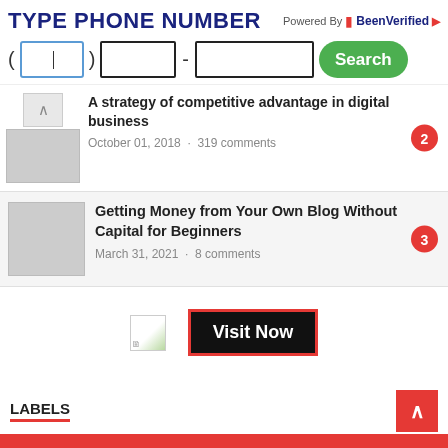[Figure (screenshot): TYPE PHONE NUMBER search widget with BeenVerified branding, input fields for area code, prefix, and number, and a green Search button]
A strategy of competitive advantage in digital business
October 01, 2018 · 319 comments
Getting Money from Your Own Blog Without Capital for Beginners
March 31, 2021 · 8 comments
[Figure (infographic): Advertisement area with broken image placeholder and a Visit Now button with red border]
LABELS